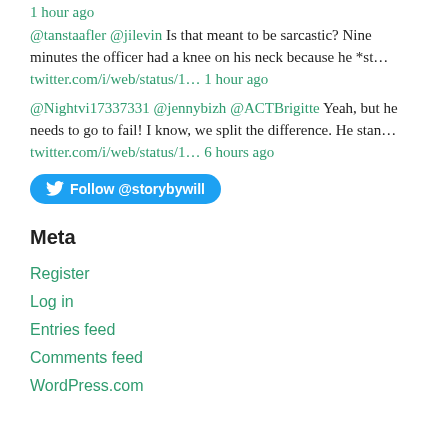1 hour ago
@tanstaafler @jilevin Is that meant to be sarcastic? Nine minutes the officer had a knee on his neck because he *st... twitter.com/i/web/status/1... 1 hour ago
@Nightvi17337331 @jennybizh @ACTBrigitte Yeah, but he needs to go to fail! I know, we split the difference. He stan... twitter.com/i/web/status/1... 6 hours ago
Follow @storybywill
Meta
Register
Log in
Entries feed
Comments feed
WordPress.com